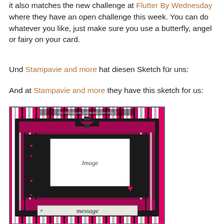it also matches the new challenge at Flutter By Wednesday where they have an open challenge this week. You can do whatever you like, just make sure you use a butterfly, angel or fairy on your card.
Und Stampavie and more hat diesen Sketch für uns:
And at Stampavie and more they have this sketch for us:
[Figure (illustration): A card sketch/template illustration showing a pink and black striped card design with a white image placeholder in the center labeled 'Image', a 'message' banner at the bottom, decorative bows at the top, and heart embellishments. URL http://le-blog-de-grenadine.over-blog.fr is shown at the top of the image.]